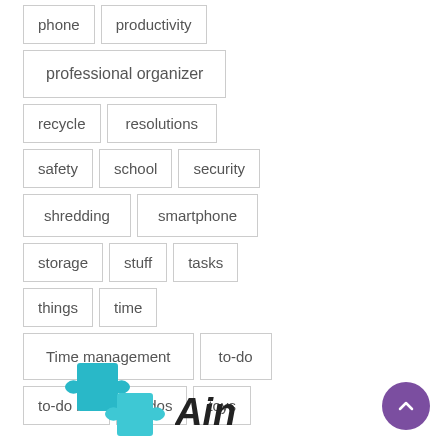phone
productivity
professional organizer
recycle
resolutions
safety
school
security
shredding
smartphone
storage
stuff
tasks
things
time
Time management
to-do
to-do list
to-dos
toys
[Figure (illustration): Teal/cyan puzzle pieces icon and stylized text logo at the bottom of the page, with a purple circular scroll-to-top button in the bottom right corner]